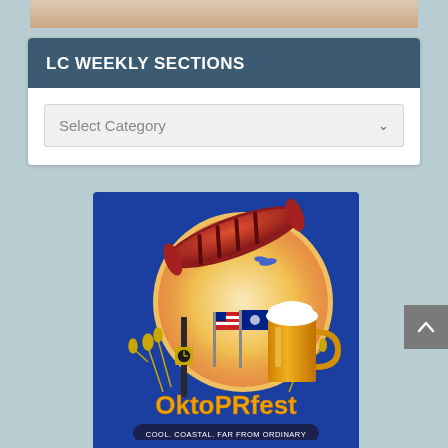[Figure (photo): Partial image at top of page, cropped, showing what appears to be a light-colored background with some object partially visible]
LC WEEKLY SECTIONS
Select Category
[Figure (illustration): OktoPRfest promotional illustration with blue background, showing a large bratwurst/sausage, a beer mug with foam, flags (American and state flags), a clock post, wheat stalks, and flying birds against a sunset circle. Text reads 'OktoPRfest' and 'COOL. COASTAL. FAR FROM ORDINARY']